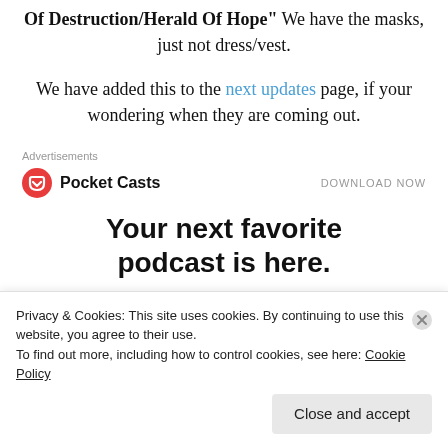Of Destruction/Herald Of Hope" We have the masks, just not dress/vest.
We have added this to the next updates page, if your wondering when they are coming out.
Advertisements
[Figure (logo): Pocket Casts logo with red circular icon and bold text 'Pocket Casts', with 'DOWNLOAD NOW' on the right]
Your next favorite podcast is here.
[Figure (other): Two blue rounded rectangle button outlines (app store download buttons)]
Privacy & Cookies: This site uses cookies. By continuing to use this website, you agree to their use.
To find out more, including how to control cookies, see here: Cookie Policy